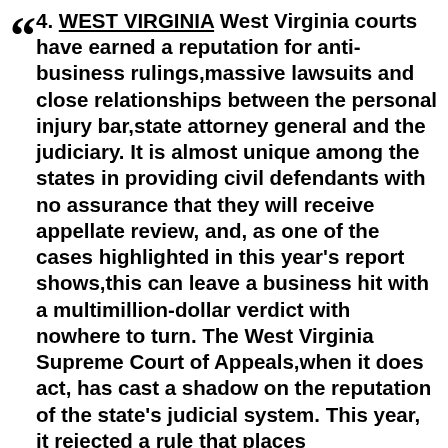4. WEST VIRGINIA West Virginia courts have earned a reputation for anti-business rulings,massive lawsuits and close relationships between the personal injury bar,state attorney general and the judiciary. It is almost unique among the states in providing civil defendants with no assurance that they will receive appellate review, and, as one of the cases highlighted in this year's report shows,this can leave a business hit with a multimillion-dollar verdict with nowhere to turn. The West Virginia Supreme Court of Appeals,when it does act, has cast a shadow on the reputation of the state's judicial system. This year, it rejected a rule that places responsibility of warning patients of the risks of most drugs solely with their